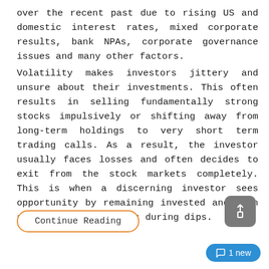over the recent past due to rising US and domestic interest rates, mixed corporate results, bank NPAs, corporate governance issues and many other factors.
Volatility makes investors jittery and unsure about their investments. This often results in selling fundamentally strong stocks impulsively or shifting away from long-term holdings to very short term trading calls. As a result, the investor usually faces losses and often decides to exit from the stock markets completely. This is when a discerning investor sees opportunity by remaining invested and even adding to his holdings during dips.
Continue Reading